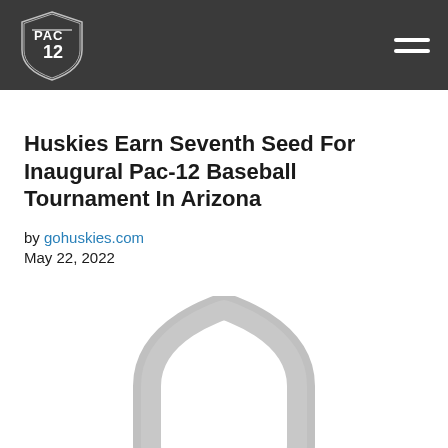Pac-12 header navigation bar with logo and menu icon
Huskies Earn Seventh Seed For Inaugural Pac-12 Baseball Tournament In Arizona
by gohuskies.com
May 22, 2022
[Figure (logo): Gray shield/crest placeholder image]